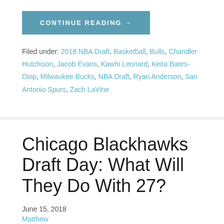CONTINUE READING →
Filed under: 2018 NBA Draft, Basketball, Bulls, Chandler Hutchison, Jacob Evans, Kawhi Leonard, Keita Bates-Diop, Milwaukee Bucks, NBA Draft, Ryan Anderson, San Antonio Spurs, Zach LaVine
Chicago Blackhawks Draft Day: What Will They Do With 27?
June 15, 2018
Matthew
Leave a comment